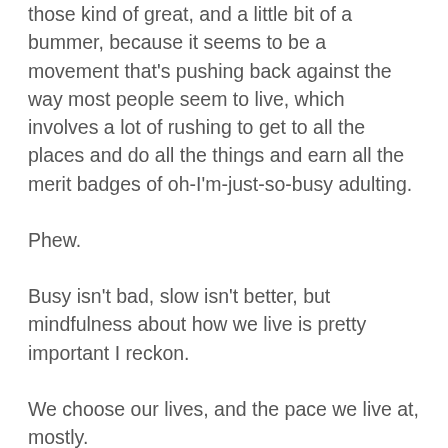those kind of great, and a little bit of a bummer, because it seems to be a movement that's pushing back against the way most people seem to live, which involves a lot of rushing to get to all the places and do all the things and earn all the merit badges of oh-I'm-just-so-busy adulting.
Phew.
Busy isn't bad, slow isn't better, but mindfulness about how we live is pretty important I reckon.
We choose our lives, and the pace we live at, mostly.
Choice is an incredible power and sometimes I think we forfeit that power by letting the way other people live push us along a path we're not sure is the right fit for us. We think that's just what you have to do